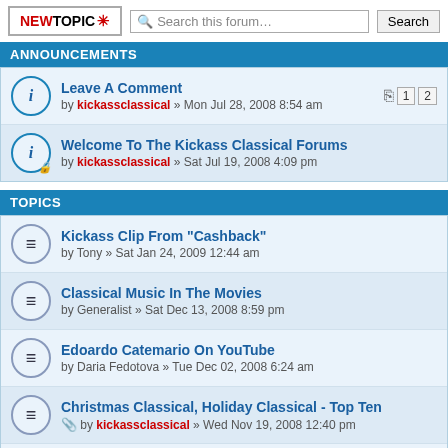ANNOUNCEMENTS
Leave A Comment by kickassclassical » Mon Jul 28, 2008 8:54 am
Welcome To The Kickass Classical Forums by kickassclassical » Sat Jul 19, 2008 4:09 pm
TOPICS
Kickass Clip From "Cashback" by Tony » Sat Jan 24, 2009 12:44 am
Classical Music In The Movies by Generalist » Sat Dec 13, 2008 8:59 pm
Edoardo Catemario On YouTube by Daria Fedotova » Tue Dec 02, 2008 6:24 am
Christmas Classical, Holiday Classical - Top Ten by kickassclassical » Wed Nov 19, 2008 12:40 pm
Scary Halloween Classical Music - Top Ten by kickassclassical » Sat Aug 16, 2008 2:19 pm
Christmas Music At Santa Pop! by kickassclassical » Sat Sep 27, 2008 1:11 am
Classical Music On Uncyclopedia by kickassclassical » Sat Sep 20, 2008 9:17 am